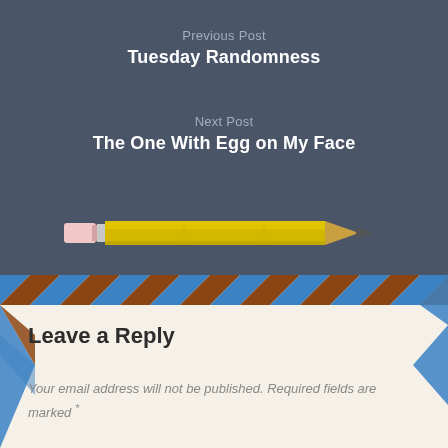Previous Post
Tuesday Randomness
Next Post
The One With Egg on My Face
[Figure (illustration): A yellow pencil illustration with pink eraser on the left and pointed tip on the right, shown horizontally on a dark blue-grey background]
Leave a Reply
Your email address will not be published. Required fields are marked *